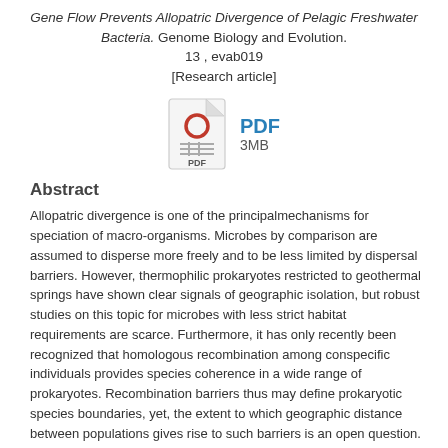Gene Flow Prevents Allopatric Divergence of Pelagic Freshwater Bacteria. Genome Biology and Evolution. 13 , evab019 [Research article]
[Figure (other): PDF file icon with red circle and PDF label, accompanied by 'PDF 3MB' text link]
Abstract
Allopatric divergence is one of the principalmechanisms for speciation of macro-organisms. Microbes by comparison are assumed to disperse more freely and to be less limited by dispersal barriers. However, thermophilic prokaryotes restricted to geothermal springs have shown clear signals of geographic isolation, but robust studies on this topic for microbes with less strict habitat requirements are scarce. Furthermore, it has only recently been recognized that homologous recombination among conspecific individuals provides species coherence in a wide range of prokaryotes. Recombination barriers thus may define prokaryotic species boundaries, yet, the extent to which geographic distance between populations gives rise to such barriers is an open question. Here, we investigated gene flow and population structure in a widespread species of pelagic